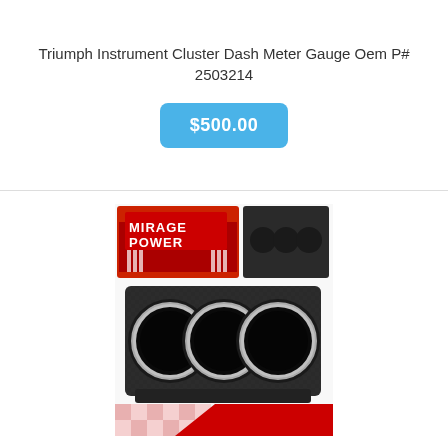Triumph Instrument Cluster Dash Meter Gauge Oem P# 2503214
$500.00
[Figure (photo): A triple gauge pod mount (carbon fiber pattern) with three circular gauge openings, shown with a Mirage Power branded product image in the upper right corner and a red/white checkered flag background at the bottom.]